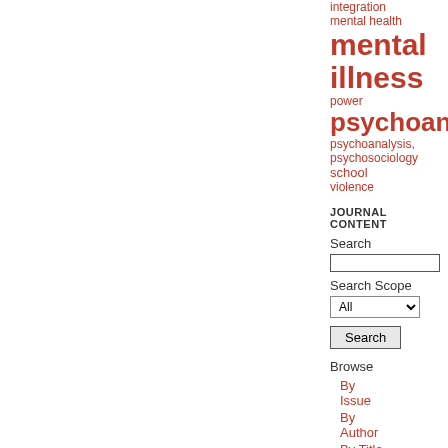integration
mental health
mental illness
power
psychoanalysis
psychoanalysis, psychosociology
school
violence
JOURNAL CONTENT
Search
Search Scope
Browse
By Issue
By Author
By Title
INFORMATION
For Readers
For Authors
For Librarians